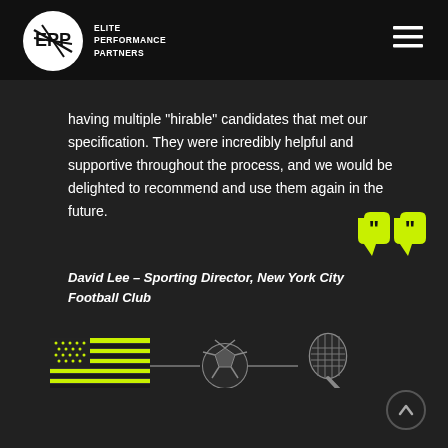[Figure (logo): Elite Performance Partners logo — circular white badge with EPP letters mark, beside bold white text ELITE PERFORMANCE PARTNERS]
having multiple 'hirable' candidates that met our specification. They were incredibly helpful and supportive throughout the process, and we would be delighted to recommend and use them again in the future.
David Lee – Sporting Director, New York City Football Club
[Figure (illustration): Neon yellow/green closing quotation marks decorative element]
[Figure (illustration): Row of icons: US flag in neon yellow, soccer ball icon, tennis racket icon connected by horizontal lines]